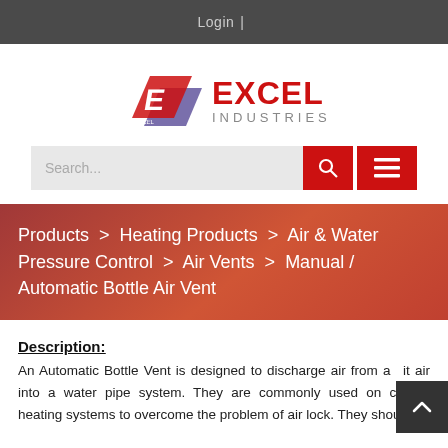Login  |
[Figure (logo): Excel Industries logo with stylized E icon in red and purple, and text EXCEL INDUSTRIES in red and grey]
[Figure (screenshot): Search bar with search button and menu button in red]
Products > Heating Products > Air & Water Pressure Control > Air Vents > Manual / Automatic Bottle Air Vent
Description:
An Automatic Bottle Vent is designed to discharge air from air into a water pipe system. They are commonly used on central heating systems to overcome the problem of air lock. They should be